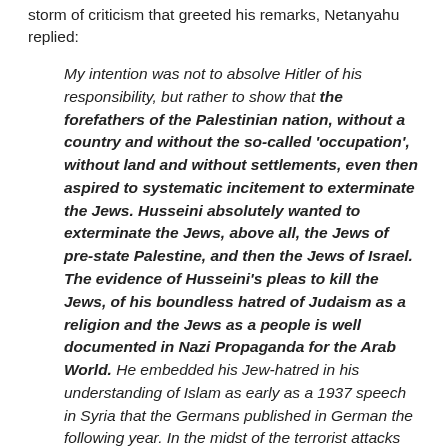storm of criticism that greeted his remarks, Netanyahu replied:
My intention was not to absolve Hitler of his responsibility, but rather to show that the forefathers of the Palestinian nation, without a country and without the so-called 'occupation', without land and without settlements, even then aspired to systematic incitement to exterminate the Jews. Husseini absolutely wanted to exterminate the Jews, above all, the Jews of pre-state Palestine, and then the Jews of Israel. The evidence of Husseini's pleas to kill the Jews, of his boundless hatred of Judaism as a religion and the Jews as a people is well documented in Nazi Propaganda for the Arab World. He embedded his Jew-hatred in his understanding of Islam as early as a 1937 speech in Syria that the Germans published in German the following year. In the midst of the terrorist attacks he led and incited from 1936 to